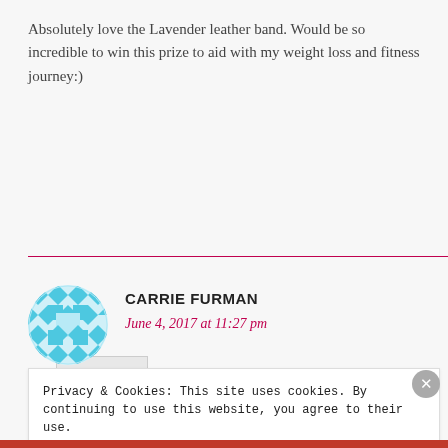Absolutely love the Lavender leather band. Would be so incredible to win this prize to aid with my weight loss and fitness journey:)
REPLY
CARRIE FURMAN
June 4, 2017 at 11:27 pm
Privacy & Cookies: This site uses cookies. By continuing to use this website, you agree to their use.
To find out more, including how to control cookies, see here: Cookie Policy
Close and accept